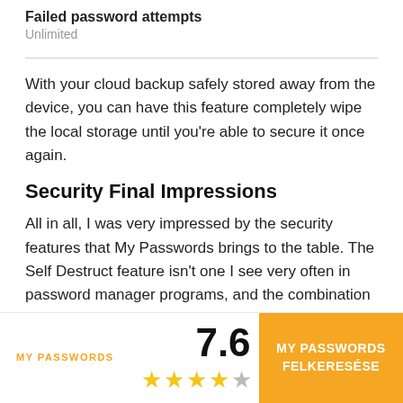Failed password attempts
Unlimited
With your cloud backup safely stored away from the device, you can have this feature completely wipe the local storage until you're able to secure it once again.
Security Final Impressions
All in all, I was very impressed by the security features that My Passwords brings to the table. The Self Destruct feature isn't one I see very often in password manager programs, and the combination of AES-256 encryption and biometric logins
MY PASSWORDS | 7.6 | ★★★★☆ | MY PASSWORDS FELKERESÉSE